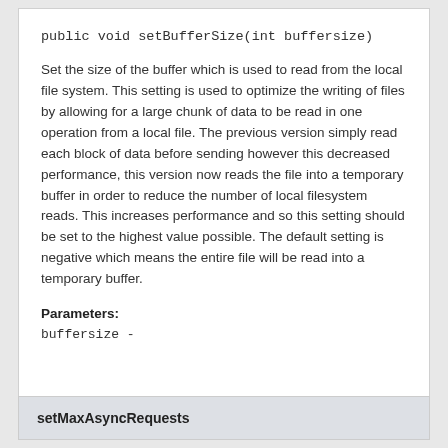public void setBufferSize(int buffersize)
Set the size of the buffer which is used to read from the local file system. This setting is used to optimize the writing of files by allowing for a large chunk of data to be read in one operation from a local file. The previous version simply read each block of data before sending however this decreased performance, this version now reads the file into a temporary buffer in order to reduce the number of local filesystem reads. This increases performance and so this setting should be set to the highest value possible. The default setting is negative which means the entire file will be read into a temporary buffer.
Parameters:
buffersize -
setMaxAsyncRequests